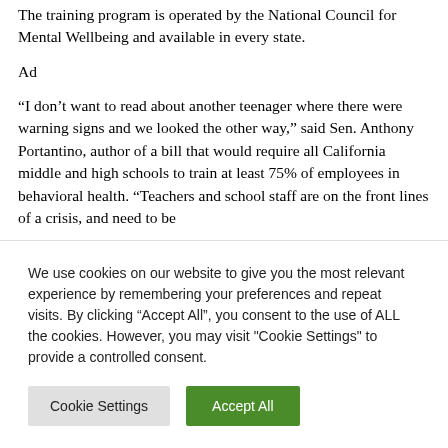The training program is operated by the National Council for Mental Wellbeing and available in every state.
Ad
“I don’t want to read about another teenager where there were warning signs and we looked the other way,” said Sen. Anthony Portantino, author of a bill that would require all California middle and high schools to train at least 75% of employees in behavioral health. “Teachers and school staff are on the front lines of a crisis, and need to be
We use cookies on our website to give you the most relevant experience by remembering your preferences and repeat visits. By clicking “Accept All”, you consent to the use of ALL the cookies. However, you may visit "Cookie Settings" to provide a controlled consent.